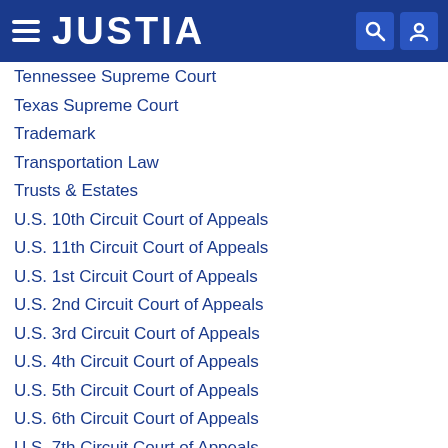JUSTIA
Tennessee Supreme Court
Texas Supreme Court
Trademark
Transportation Law
Trusts & Estates
U.S. 10th Circuit Court of Appeals
U.S. 11th Circuit Court of Appeals
U.S. 1st Circuit Court of Appeals
U.S. 2nd Circuit Court of Appeals
U.S. 3rd Circuit Court of Appeals
U.S. 4th Circuit Court of Appeals
U.S. 5th Circuit Court of Appeals
U.S. 6th Circuit Court of Appeals
U.S. 7th Circuit Court of Appeals
U.S. 8th Circuit Court of Appeals
U.S. 9th Circuit Court of Appeals
U.S. Court of Appeals for the District of Columbia Circuit
U.S. Court of Appeals for the Eighth Circuit
U.S. Court of Appeals for the Fifth Circuit